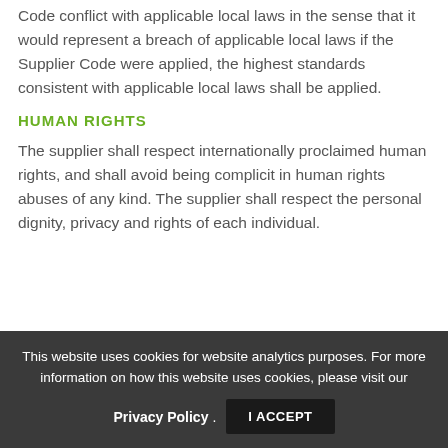Code conflict with applicable local laws in the sense that it would represent a breach of applicable local laws if the Supplier Code were applied, the highest standards consistent with applicable local laws shall be applied.
HUMAN RIGHTS
The supplier shall respect internationally proclaimed human rights, and shall avoid being complicit in human rights abuses of any kind. The supplier shall respect the personal dignity, privacy and rights of each individual.
This website uses cookies for website analytics purposes. For more information on how this website uses cookies, please visit our Privacy Policy. I ACCEPT